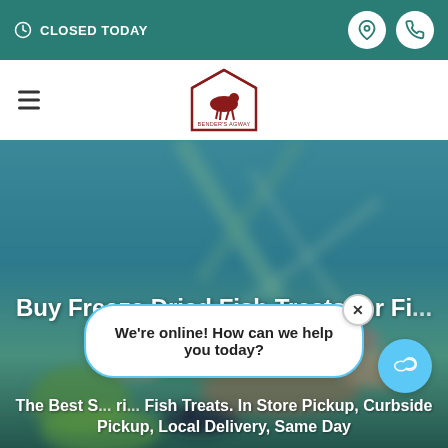CLOSED TODAY
[Figure (logo): Bender's Agway store logo with horse and animals under a barn roof]
[Figure (photo): Blurred background photo of fish/seafood and plants in blue-teal tones]
Buy Freeze Dried Fish Treats for Fi...
The Best S... ri... Fish Treats. In Store Pickup, Curbside Pickup, Local Delivery, Same Day
We're online! How can we help you today?